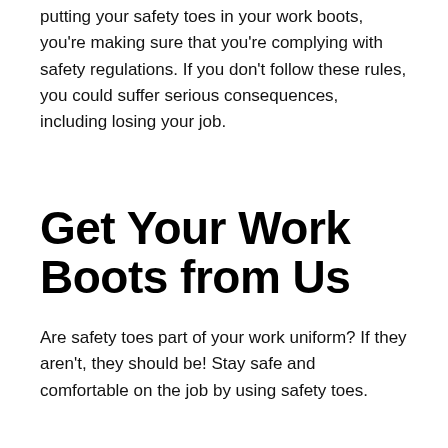putting your safety toes in your work boots, you're making sure that you're complying with safety regulations. If you don't follow these rules, you could suffer serious consequences, including losing your job.
Get Your Work Boots from Us
Are safety toes part of your work uniform? If they aren't, they should be! Stay safe and comfortable on the job by using safety toes.
If you're still looking for the perfect pair of work boots